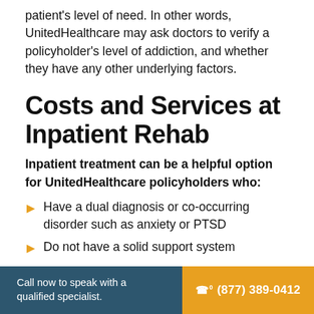patient's level of need. In other words, UnitedHealthcare may ask doctors to verify a policyholder's level of addiction, and whether they have any other underlying factors.
Costs and Services at Inpatient Rehab
Inpatient treatment can be a helpful option for UnitedHealthcare policyholders who:
Have a dual diagnosis or co-occurring disorder such as anxiety or PTSD
Do not have a solid support system
Call now to speak with a qualified specialist. ☎ (877) 389-0412